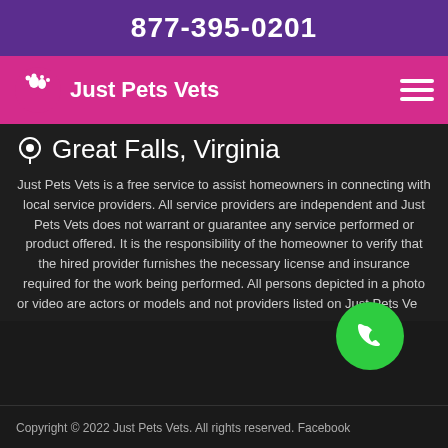877-395-0201
Just Pets Vets
Great Falls, Virginia
Just Pets Vets is a free service to assist homeowners in connecting with local service providers. All service providers are independent and Just Pets Vets does not warrant or guarantee any service performed or product offered. It is the responsibility of the homeowner to verify that the hired provider furnishes the necessary license and insurance required for the work being performed. All persons depicted in a photo or video are actors or models and not providers listed on Just Pets Ve...
Copyright © 2022 Just Pets Vets. All rights reserved. Facebook